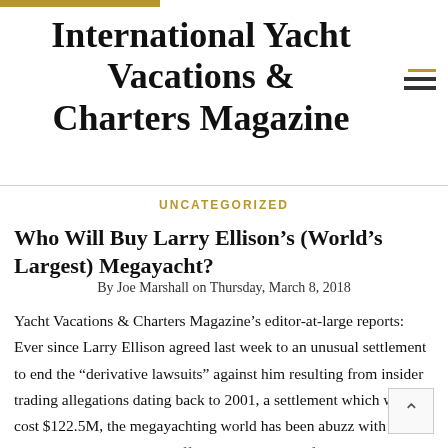International Yacht Vacations & Charters Magazine
UNCATEGORIZED
Who Will Buy Larry Ellison’s (World’s Largest) Megayacht?
By Joe Marshall on Thursday, March 8, 2018
Yacht Vacations & Charters Magazine’s editor-at-large reports: Ever since Larry Ellison agreed last week to an unusual settlement to end the “derivative lawsuits” against him resulting from insider trading allegations dating back to 2001, a settlement which will cost $122.5M, the megayachting world has been abuzz with speculation as who could afford to buy the 452-foot Rising Sun megayacht from him – the world’s largest yacht – and maybe help defray some of that expense.
Bigger even than Microsoft cofounder Paul Allen’s massive 414-foot